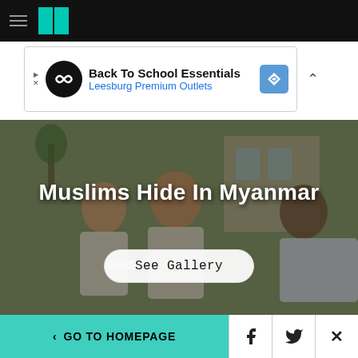HuffPost navigation bar with hamburger menu and logo
[Figure (infographic): Advertisement banner: Back To School Essentials - Leesburg Premium Outlets]
[Figure (photo): Photo of men in Myanmar, one being supported/helped. Text overlay: Muslims Hide In Myanmar. Button: See Gallery]
< GO TO HOMEPAGE | Facebook | Twitter | X